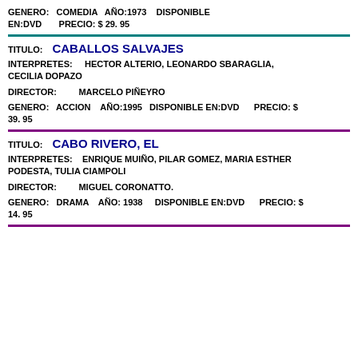GENERO: COMEDIA AÑO:1973 DISPONIBLE EN:DVD PRECIO: $ 29. 95
TITULO: CABALLOS SALVAJES
INTERPRETES: HECTOR ALTERIO, LEONARDO SBARAGLIA, CECILIA DOPAZO
DIRECTOR: MARCELO PIÑEYRO
GENERO: ACCION AÑO:1995 DISPONIBLE EN:DVD PRECIO: $ 39. 95
TITULO: CABO RIVERO, EL
INTERPRETES: ENRIQUE MUIÑO, PILAR GOMEZ, MARIA ESTHER PODESTA, TULIA CIAMPOLI
DIRECTOR: MIGUEL CORONATTO.
GENERO: DRAMA AÑO: 1938 DISPONIBLE EN:DVD PRECIO: $ 14. 95